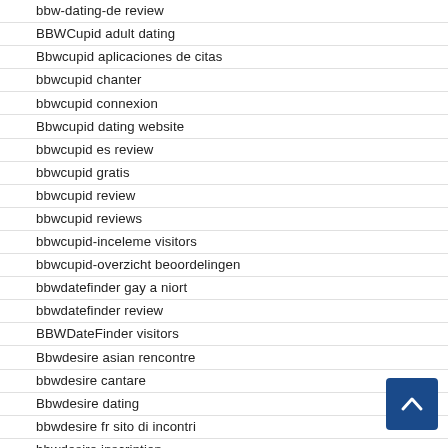bbw-dating-de review
BBWCupid adult dating
Bbwcupid aplicaciones de citas
bbwcupid chanter
bbwcupid connexion
Bbwcupid dating website
bbwcupid es review
bbwcupid gratis
bbwcupid review
bbwcupid reviews
bbwcupid-inceleme visitors
bbwcupid-overzicht beoordelingen
bbwdatefinder gay a niort
bbwdatefinder review
BBWDateFinder visitors
Bbwdesire asian rencontre
bbwdesire cantare
Bbwdesire dating
bbwdesire fr sito di incontri
bbwdesire inscription
bbwdesire kosten
bbwdesire reviews
BBWDesire visitors
bbwdesire web
bbwdesire-recenze PEMihIEYsit se